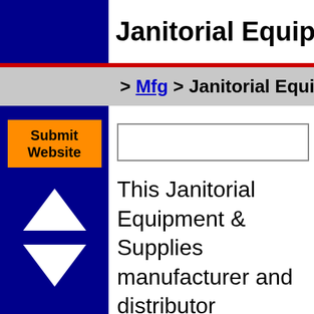Janitorial Equipment & Supplies
> Mfg > Janitorial Equipment
Submit Website
This Janitorial Equipment & Supplies manufacturer and distributor directory includes janitorial equipment and supply manufacturer entries for many States in the USA plus